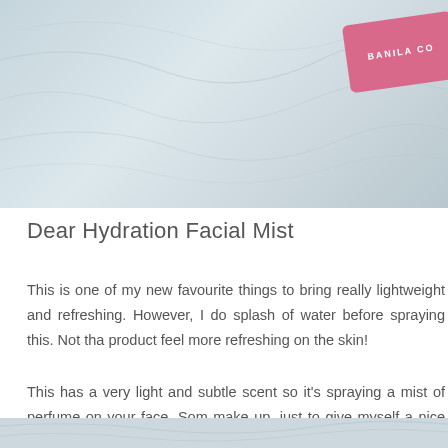[Figure (photo): Product photo of Banila Co items on white fabric/towel background, with a pink Banila Co card visible in upper right corner]
Dear Hydration Facial Mist
This is one of my new favourite things to bring really lightweight and refreshing. However, I do splash of water before spraying this. Not tha product feel more refreshing on the skin!
This has a very light and subtle scent so it's spraying a mist of perfume on your face. Som make up, just to give myself a nice hydrating re
[Figure (photo): Partial photo of Banila Co products on white fabric, bottom of page]